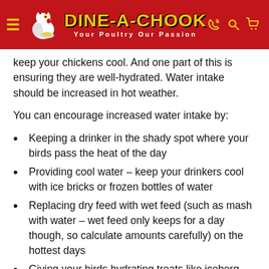[Figure (logo): Dine-A-Chook logo with red header background, hamburger menu icon, chicken mascot, yellow DINE-A-CHOOK text, tagline 'Your Poultry Our Passion', and icons for phone, search, and cart]
keep your chickens cool. And one part of this is ensuring they are well-hydrated. Water intake should be increased in hot weather.
You can encourage increased water intake by:
Keeping a drinker in the shady spot where your birds pass the heat of the day
Providing cool water – keep your drinkers cool with ice bricks or frozen bottles of water
Replacing dry feed with wet feed (such as mash with water – wet feed only keeps for a day though, so calculate amounts carefully) on the hottest days
Giving your birds hydrating treats like iceberg lettuce, watermelon, cucumber and any other veggies or fruit with a high water content
Rehydrating your mealworms